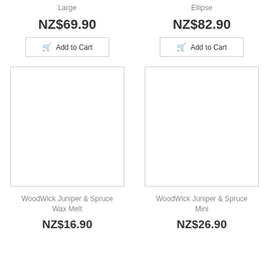Large
Ellipse
NZ$69.90
NZ$82.90
Add to Cart
Add to Cart
[Figure (photo): Product image placeholder (empty white box with border) for WoodWick Juniper & Spruce Wax Melt]
[Figure (photo): Product image placeholder (empty white box with border) for WoodWick Juniper & Spruce Mini]
WoodWick Juniper & Spruce Wax Melt
WoodWick Juniper & Spruce Mini
NZ$16.90
NZ$26.90